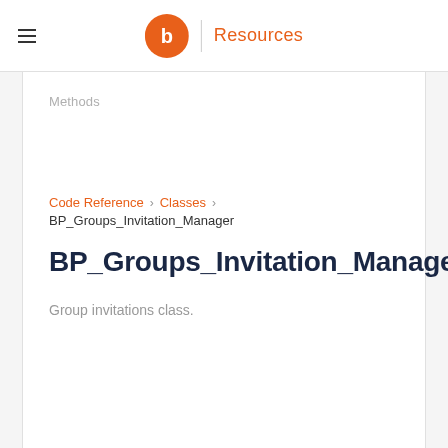Resources
Methods
Code Reference > Classes > BP_Groups_Invitation_Manager
BP_Groups_Invitation_Manager
Group invitations class.